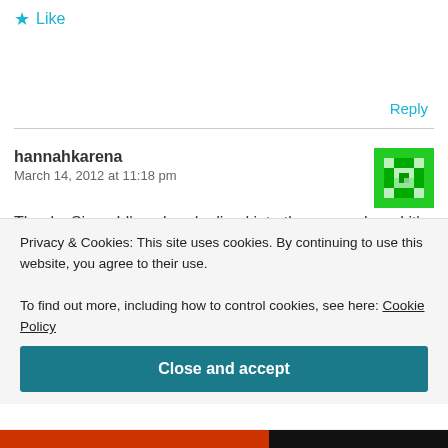★ Like
Reply
hannahkarena
March 14, 2012 at 11:18 pm
[Figure (illustration): Green pixelated avatar/gravatar icon]
Thanks Simon! I've already dived into the research and it's proving to be so interesting! I can't wait to share all the pictures and information with everyone
Privacy & Cookies: This site uses cookies. By continuing to use this website, you agree to their use.
To find out more, including how to control cookies, see here: Cookie Policy
Close and accept